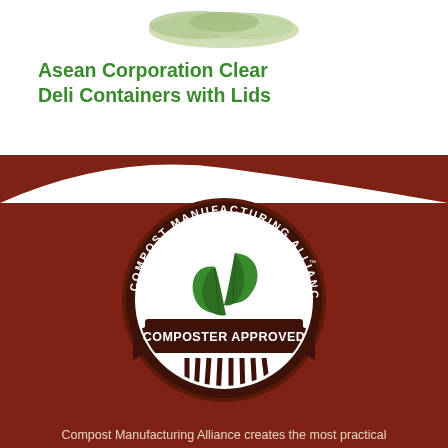[Figure (photo): Partial product image of clear deli containers at top of page]
Asean Corporation Clear Deli Containers with Lids
[Figure (logo): Compost Manufacturing Alliance Composter Approved seal/badge — circular badge with brown border, white circle interior containing two green leaves, banner reading COMPOSTER APPROVED, and text COMPOST MANUFACTURING ALLIANCE around the top arc]
Compost Manufacturing Alliance creates the most practical